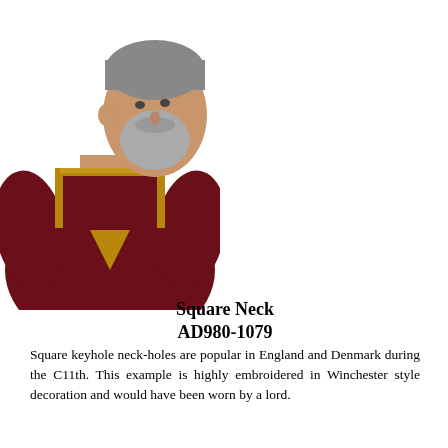[Figure (photo): A middle-aged bearded man with grey hair wearing a dark red (maroon) medieval-style tunic with ornate gold embroidery around the square neckline, facing slightly to the right.]
Square Neck AD980-1079
Square keyhole neck-holes are popular in England and Denmark during the C11th. This example is highly embroidered in Winchester style decoration and would have been worn by a lord.
by Bekka Griffiths